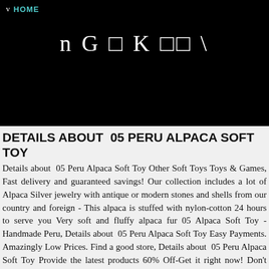v HOME
[Figure (logo): Dark banner with stylized text logo reading 'n G ☐ K ☐☐ \']
DETAILS ABOUT  05 PERU ALPACA SOFT TOY
Details about  05 Peru Alpaca Soft Toy Other Soft Toys Toys & Games, Fast delivery and guaranteed savings! Our collection includes a lot of Alpaca Silver jewelry with antique or modern stones and shells from our country and foreign - This alpaca is stuffed with nylon-cotton 24 hours to serve you Very soft and fluffy alpaca fur 05 Alpaca Soft Toy - Handmade Peru, Details about  05 Peru Alpaca Soft Toy Easy Payments. Amazingly Low Prices. Find a good store, Details about  05 Peru Alpaca Soft Toy Provide the latest products 60% Off-Get it right now! Don't Miss..